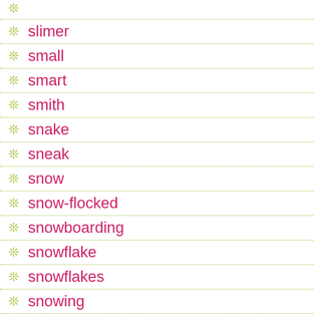slimer
small
smart
smith
snake
sneak
snow
snow-flocked
snowboarding
snowflake
snowflakes
snowing
snowman